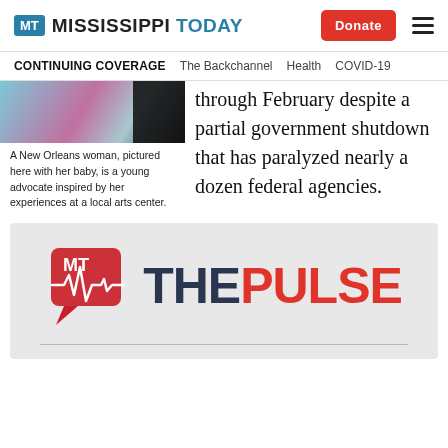MISSISSIPPI TODAY
CONTINUING COVERAGE  The Backchannel  Health  COVID-19
[Figure (photo): A New Orleans woman pictured with her baby, partially visible cropped photo]
A New Orleans woman, pictured here with her baby, is a young advocate inspired by her experiences at a local arts center.
through February despite a partial government shutdown that has paralyzed nearly a dozen federal agencies.
[Figure (logo): The Pulse logo — red speech bubble icon with heartbeat line and MT monogram, followed by THE PULSE text in dark navy and red]